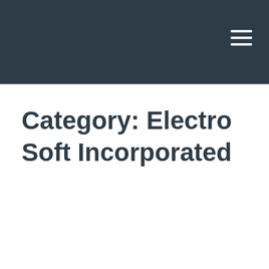Category: Electro Soft Incorporated